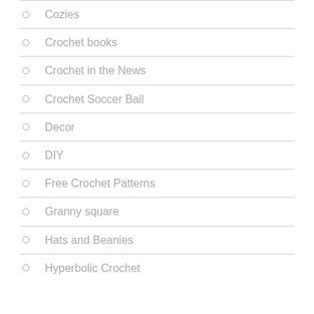Cozies
Crochet books
Crochet in the News
Crochet Soccer Ball
Decor
DIY
Free Crochet Patterns
Granny square
Hats and Beanies
Hyperbolic Crochet